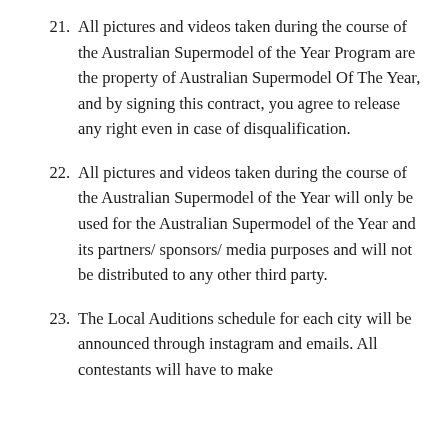21. All pictures and videos taken during the course of the Australian Supermodel of the Year Program are the property of Australian Supermodel Of The Year, and by signing this contract, you agree to release any right even in case of disqualification.
22. All pictures and videos taken during the course of the Australian Supermodel of the Year will only be used for the Australian Supermodel of the Year and its partners/ sponsors/ media purposes and will not be distributed to any other third party.
23. The Local Auditions schedule for each city will be announced through instagram and emails. All contestants will have to make